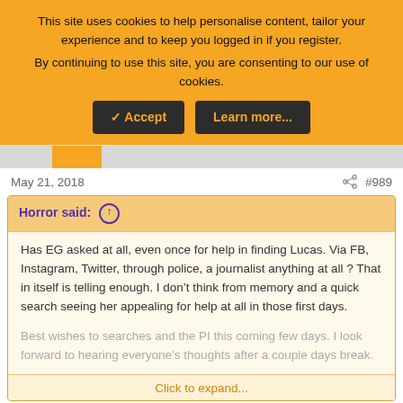This site uses cookies to help personalise content, tailor your experience and to keep you logged in if you register. By continuing to use this site, you are consenting to our use of cookies.
✓ Accept | Learn more...
May 21, 2018
#989
Horror said: ↑
Has EG asked at all, even once for help in finding Lucas. Via FB, Instagram, Twitter, through police, a journalist anything at all ? That in itself is telling enough. I don&#8217;t think from memory and a quick search seeing her appealing for help at all in those first days.

Best wishes to searches and the PI this coming few days. I look forward to hearing everyone&#8217;s thoughts after a couple days break.
Click to expand...